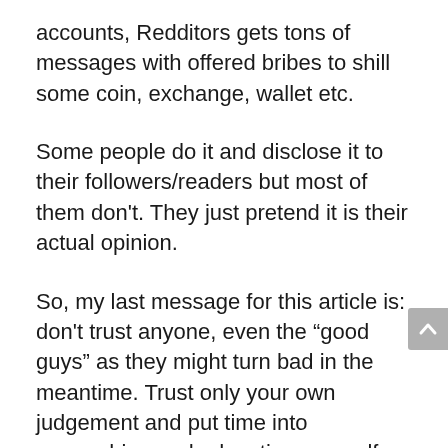accounts, Redditors gets tons of messages with offered bribes to shill some coin, exchange, wallet etc.
Some people do it and disclose it to their followers/readers but most of them don't. They just pretend it is their actual opinion.
So, my last message for this article is: don't trust anyone, even the “good guys” as they might turn bad in the meantime. Trust only your own judgement and put time into researching and educating yourself. But there lies the problem: you came to crypto to quickly get rich